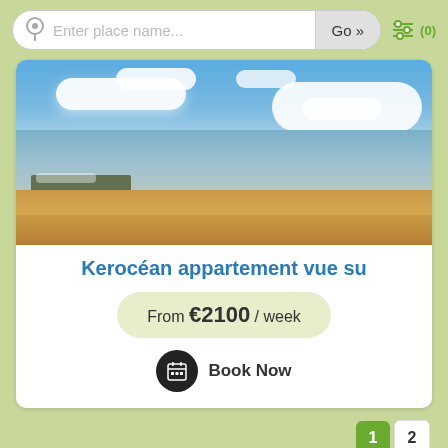Enter place name...  Go »  ⊕ (0)
[Figure (photo): Coastal beach scene with blue sky, white clouds, calm sea water, sandy beach, and a small harbor/pier in the distance]
Kerocéan appartement vue su
From €2100 / week
Book Now
1  2
© 2002-2022 chambresdhotes.org. E-Reserve Ltd
Add - Privacy Policy - Terms of Service